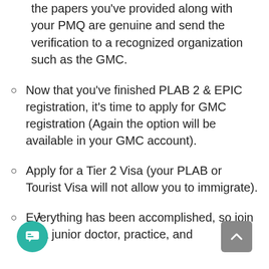the papers you've provided along with your PMQ are genuine and send the verification to a recognized organization such as the GMC.
Now that you've finished PLAB 2 & EPIC registration, it's time to apply for GMC registration (Again the option will be available in your GMC account).
Apply for a Tier 2 Visa (your PLAB or Tourist Visa will not allow you to immigrate).
Everything has been accomplished, so join as a junior doctor, practice, and